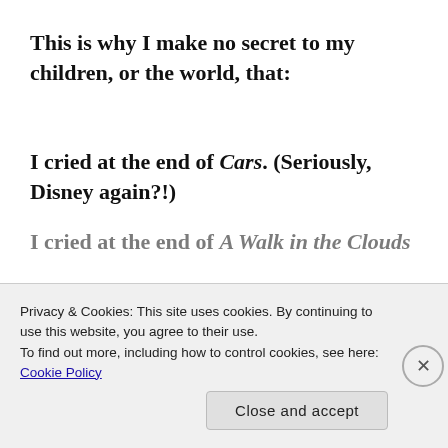This is why I make no secret to my children, or the world, that:
I cried at the end of Cars. (Seriously, Disney again?!)
I cried at the end of A Walk in the Clouds
Privacy & Cookies: This site uses cookies. By continuing to use this website, you agree to their use.
To find out more, including how to control cookies, see here: Cookie Policy
Close and accept